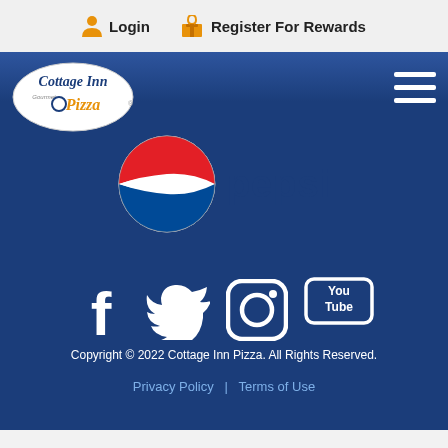Login  Register For Rewards
[Figure (logo): Cottage Inn Gourmet Pizza logo - white oval with stylized text]
[Figure (logo): Pepsi logo - red, white, blue circle with 'pepsi' text]
[Figure (infographic): Social media icons: Facebook, Twitter, Instagram, YouTube]
Copyright © 2022 Cottage Inn Pizza. All Rights Reserved.
Privacy Policy  |  Terms of Use